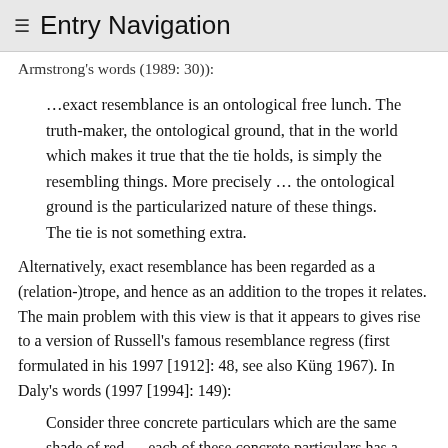≡ Entry Navigation
Armstrong's words (1989: 30)):
…exact resemblance is an ontological free lunch. The truth-maker, the ontological ground, that in the world which makes it true that the tie holds, is simply the resembling things. More precisely … the ontological ground is the particularized nature of these things. The tie is not something extra.
Alternatively, exact resemblance has been regarded as a (relation-)trope, and hence as an addition to the tropes it relates. The main problem with this view is that it appears to gives rise to a version of Russell's famous resemblance regress (first formulated in his 1997 [1912]: 48, see also Küng 1967). In Daly's words (1997 [1994]: 149):
Consider three concrete particulars which are the same shade of red … each of these concrete particulars has a red trope—call these tropes F, G, and H—and these concrete particulars exactly resemble each other in colour because F, G, and H